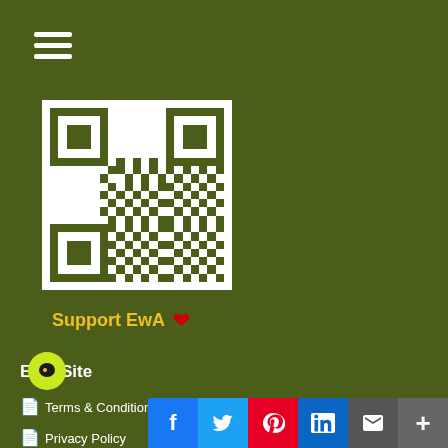[Figure (other): Hamburger menu icon (three white horizontal lines) in top-left corner on dark olive green background]
[Figure (other): QR code in white square for EwA (Ecology without Apologies) donation/support link]
Support EwA ❤
EwA Site
Terms & Conditions
Privacy Policy
[Figure (other): Social media sharing bar with Facebook, Twitter, Pinterest, LinkedIn, Email, and More (+) buttons]